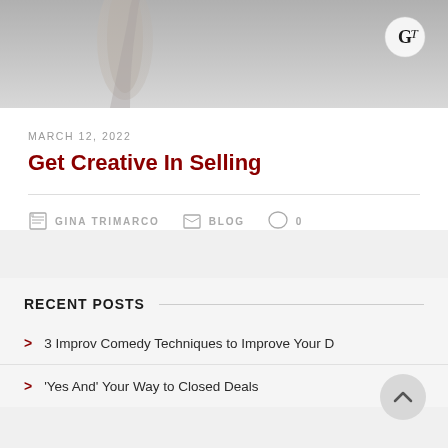[Figure (photo): Black and white photo of a hand/arm raised, with a circular logo (GT monogram) in the upper right corner]
MARCH 12, 2022
Get Creative In Selling
GINA TRIMARCO   BLOG   0
RECENT POSTS
3 Improv Comedy Techniques to Improve Your D
'Yes And' Your Way to Closed Deals